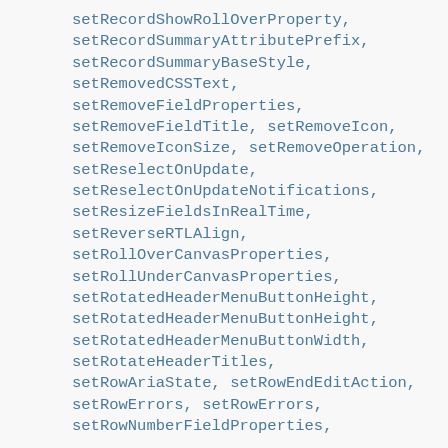setRecordShowRollOverProperty, setRecordSummaryAttributePrefix, setRecordSummaryBaseStyle, setRemovedCSSText, setRemoveFieldProperties, setRemoveFieldTitle, setRemoveIcon, setRemoveIconSize, setRemoveOperation, setReselectOnUpdate, setReselectOnUpdateNotifications, setResizeFieldsInRealTime, setReverseRTLAlign, setRollOverCanvasProperties, setRollUnderCanvasProperties, setRotatedHeaderMenuButtonHeight, setRotatedHeaderMenuButtonHeight, setRotatedHeaderMenuButtonWidth, setRotateHeaderTitles, setRowAriaState, setRowEndEditAction, setRowErrors, setRowErrors, setRowNumberFieldProperties,